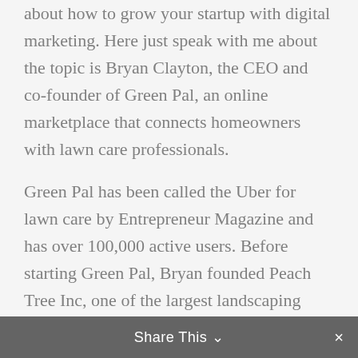about how to grow your startup with digital marketing. Here just speak with me about the topic is Bryan Clayton, the CEO and co-founder of Green Pal, an online marketplace that connects homeowners with lawn care professionals.
Green Pal has been called the Uber for lawn care by Entrepreneur Magazine and has over 100,000 active users. Before starting Green Pal, Bryan founded Peach Tree Inc, one of the largest landscaping companies in the state of Tennessee, growing into over 10 million a year in annual revenue before it was acquired by Lusa Holdings in 2013. Bryan, welcome to Performance Delivered.
Bryan Clayton: Hey, great to be on. Thanks for having me, Steffen.
Share This ∨  ×